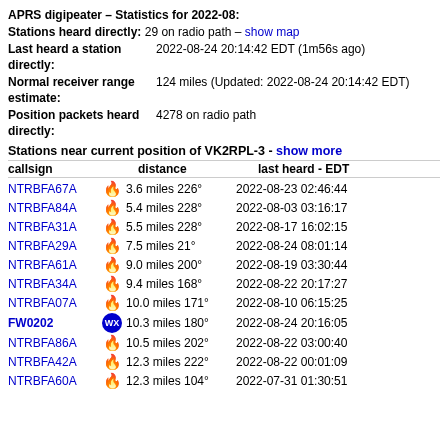APRS digipeater – Statistics for 2022-08:
Stations heard directly: 29 on radio path – show map
Last heard a station directly:  2022-08-24 20:14:42 EDT (1m56s ago)
Normal receiver range estimate:  124 miles (Updated: 2022-08-24 20:14:42 EDT)
Position packets heard directly:  4278 on radio path
Stations near current position of VK2RPL-3 - show more
| callsign | distance | last heard - EDT |
| --- | --- | --- |
| NTRBFA67A | 3.6 miles 226° | 2022-08-23 02:46:44 |
| NTRBFA84A | 5.4 miles 228° | 2022-08-03 03:16:17 |
| NTRBFA31A | 5.5 miles 228° | 2022-08-17 16:02:15 |
| NTRBFA29A | 7.5 miles 21° | 2022-08-24 08:01:14 |
| NTRBFA61A | 9.0 miles 200° | 2022-08-19 03:30:44 |
| NTRBFA34A | 9.4 miles 168° | 2022-08-22 20:17:27 |
| NTRBFA07A | 10.0 miles 171° | 2022-08-10 06:15:25 |
| FW0202 | 10.3 miles 180° | 2022-08-24 20:16:05 |
| NTRBFA86A | 10.5 miles 202° | 2022-08-22 03:00:40 |
| NTRBFA42A | 12.3 miles 222° | 2022-08-22 00:01:09 |
| NTRBFA60A | 12.3 miles 104° | 2022-07-31 01:30:51 |